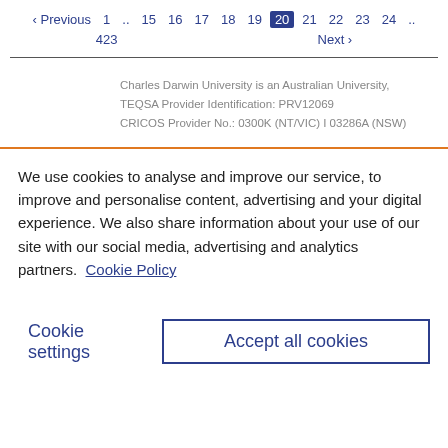‹ Previous  1 .. 15  16  17  18  19  20  21  22  23  24 ..  423  Next ›
Charles Darwin University is an Australian University, TEQSA Provider Identification: PRV12069 CRICOS Provider No.: 0300K (NT/VIC) I 03286A (NSW)
We use cookies to analyse and improve our service, to improve and personalise content, advertising and your digital experience. We also share information about your use of our site with our social media, advertising and analytics partners.  Cookie Policy
Cookie settings    Accept all cookies